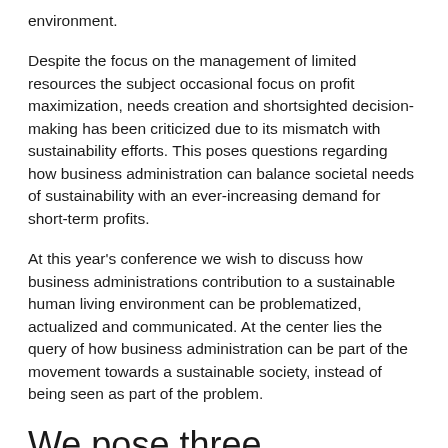environment.
Despite the focus on the management of limited resources the subject occasional focus on profit maximization, needs creation and shortsighted decision-making has been criticized due to its mismatch with sustainability efforts. This poses questions regarding how business administration can balance societal needs of sustainability with an ever-increasing demand for short-term profits.
At this year's conference we wish to discuss how business administrations contribution to a sustainable human living environment can be problematized, actualized and communicated. At the center lies the query of how business administration can be part of the movement towards a sustainable society, instead of being seen as part of the problem.
We pose three questions